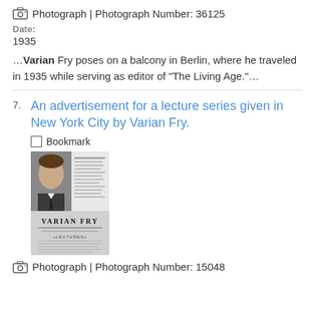Photograph | Photograph Number: 36125
Date:
1935
…Varian Fry poses on a balcony in Berlin, where he traveled in 1935 while serving as editor of "The Living Age."…
7. An advertisement for a lecture series given in New York City by Varian Fry.
Bookmark
[Figure (photo): Advertisement for a lecture series by Varian Fry, showing a portrait photo of Varian Fry on the left and lecture series text on the right. Text reads VARIAN FRY with lecture topics listed below.]
Photograph | Photograph Number: 15048